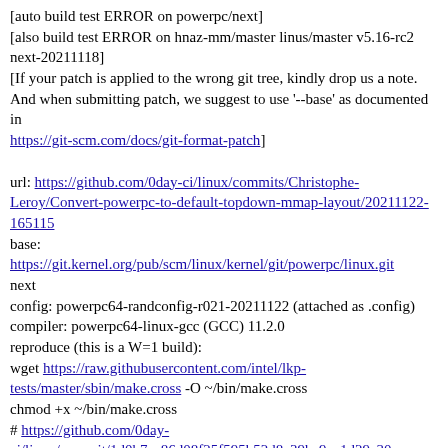[auto build test ERROR on powerpc/next]
[also build test ERROR on hnaz-mm/master linus/master v5.16-rc2 next-20211118]
[If your patch is applied to the wrong git tree, kindly drop us a note.
And when submitting patch, we suggest to use '--base' as documented in
https://git-scm.com/docs/git-format-patch]
url: https://github.com/0day-ci/linux/commits/Christophe-Leroy/Convert-powerpc-to-default-topdown-mmap-layout/20211122-165115
base:
https://git.kernel.org/pub/scm/linux/kernel/git/powerpc/linux.git
next
config: powerpc64-randconfig-r021-20211122 (attached as .config)
compiler: powerpc64-linux-gcc (GCC) 11.2.0
reproduce (this is a W=1 build):
wget https://raw.githubusercontent.com/intel/lkp-tests/master/sbin/make.cross -O ~/bin/make.cross
chmod +x ~/bin/make.cross
# https://github.com/0day-ci/linux/commit/1d0b7cc86d08f25f595b52d8c39ba9ca1d29a30a
git remote add linux-review https://github.com/0day-ci/linux